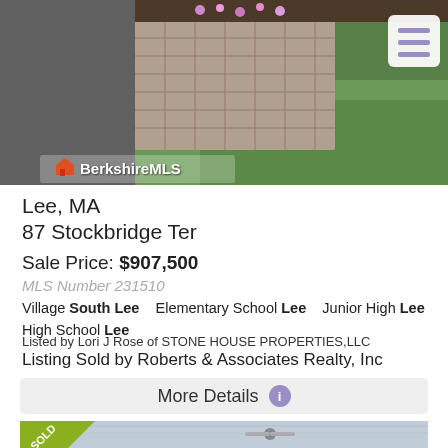[Figure (photo): Exterior photo of property showing driveway, paver walkway, and green lawn with BerkshireMLS logo overlay and hamburger menu button]
Lee, MA
87 Stockbridge Ter
Sale Price: $907,500
MLS Number 231510
Village South Lee    Elementary School Lee    Junior High Lee
High School Lee
Listed by Lori J Rose of STONE HOUSE PROPERTIES,LLC
Listing Sold by Roberts & Associates Realty, Inc
More Details
[Figure (photo): Interior or exterior photo with SOLD ribbon overlay in green]